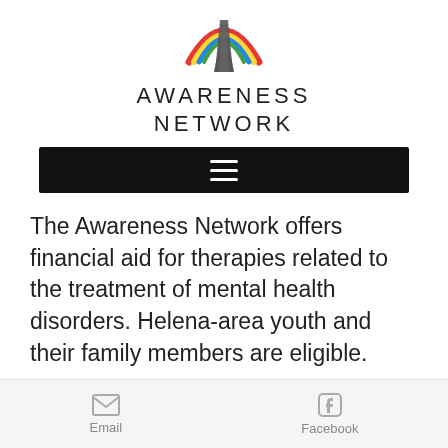[Figure (logo): Awareness Network logo: a rainbow arc over a road/path with a dark chevron, in red, yellow, blue, green, and dark gray colors]
AWARENESS NETWORK
[Figure (screenshot): Black navigation bar with a white hamburger menu icon (three horizontal lines)]
The Awareness Network offers financial aid for therapies related to the treatment of mental health disorders. Helena-area youth and their family members are eligible.
Email   Facebook